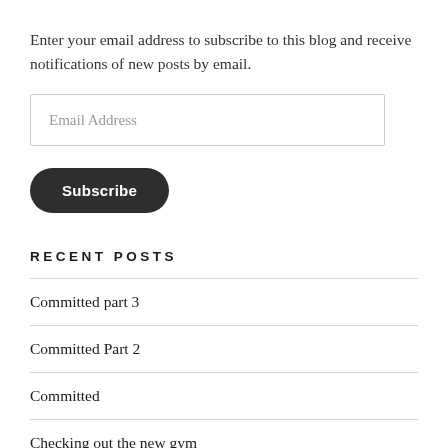Enter your email address to subscribe to this blog and receive notifications of new posts by email.
[Figure (other): Email address input field with placeholder text 'Email Address']
[Figure (other): Dark rounded Subscribe button with white bold text]
RECENT POSTS
Committed part 3
Committed Part 2
Committed
Checking out the new gym